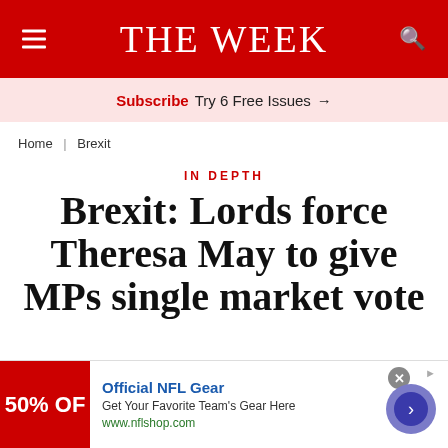THE WEEK
Subscribe Try 6 Free Issues →
Home | Brexit
IN DEPTH
Brexit: Lords force Theresa May to give MPs single market vote
[Figure (other): Advertisement banner for Official NFL Gear: 50% OFF, 'Get Your Favorite Team's Gear Here', www.nflshop.com]